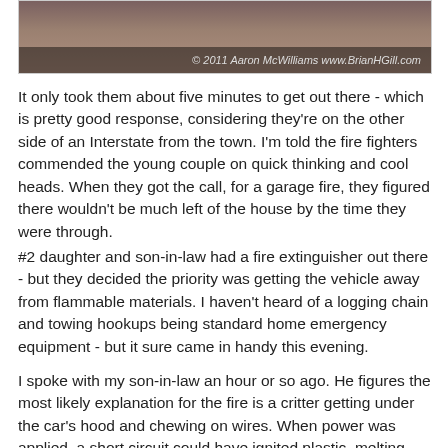[Figure (photo): Partial photo of a burned or damaged scene, with a copyright credit overlay reading '© 2011 Aaron McWilliams www.BrianHGill.com']
It only took them about five minutes to get out there - which is pretty good response, considering they're on the other side of an Interstate from the town. I'm told the fire fighters commended the young couple on quick thinking and cool heads. When they got the call, for a garage fire, they figured there wouldn't be much left of the house by the time they were through.
#2 daughter and son-in-law had a fire extinguisher out there - but they decided the priority was getting the vehicle away from flammable materials. I haven't heard of a logging chain and towing hookups being standard home emergency equipment - but it sure came in handy this evening.
I spoke with my son-in-law an hour or so ago. He figures the most likely explanation for the fire is a critter getting under the car's hood and chewing on wires. When power was applied, a short circuit could have ignited plastic, melting more insulation away...